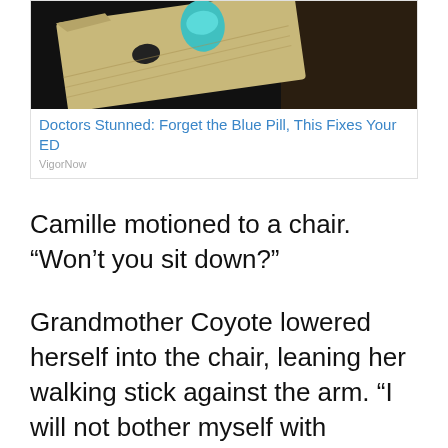[Figure (photo): Advertisement image showing a blister pill pack with a teal/turquoise pill, on a dark background]
Doctors Stunned: Forget the Blue Pill, This Fixes Your ED
VigorNow
Camille motioned to a chair. “Won’t you sit down?”
Grandmother Coyote lowered herself into the chair, leaning her walking stick against the arm. “I will not bother myself with chatter.” A crinkle in her face substituted for a smile. “But